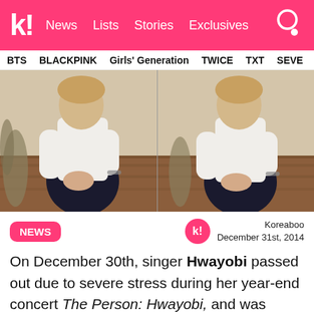k! News Lists Stories Exclusives
BTS BLACKPINK Girls' Generation TWICE TXT SEVE
[Figure (photo): Two side-by-side video stills of a woman in a white top and dark skirt kneeling on a wooden floor with hands clasped]
NEWS
Koreaboo
December 31st, 2014
On December 30th, singer Hwayobi passed out due to severe stress during her year-end concert The Person: Hwayobi, and was